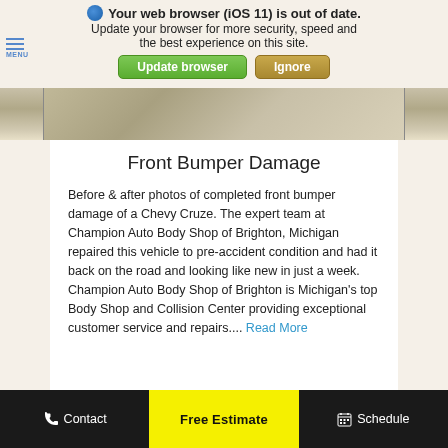Your web browser (iOS 11) is out of date. Update your browser for more security, speed and the best experience on this site.
Front Bumper Damage
Before & after photos of completed front bumper damage of a Chevy Cruze. The expert team at Champion Auto Body Shop of Brighton, Michigan repaired this vehicle to pre-accident condition and had it back on the road and looking like new in just a week. Champion Auto Body Shop of Brighton is Michigan's top Body Shop and Collision Center providing exceptional customer service and repairs.... Read More
Contact | Free Estimate | Schedule